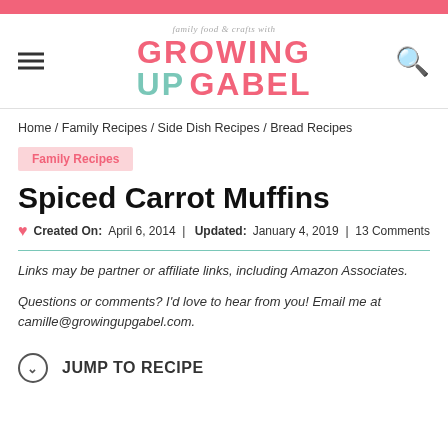family food & crafts with GROWING UP GABEL
Home / Family Recipes / Side Dish Recipes / Bread Recipes
Family Recipes
Spiced Carrot Muffins
Created On: April 6, 2014 | Updated: January 4, 2019 | 13 Comments
Links may be partner or affiliate links, including Amazon Associates.
Questions or comments? I'd love to hear from you! Email me at camille@growingupgabel.com.
JUMP TO RECIPE